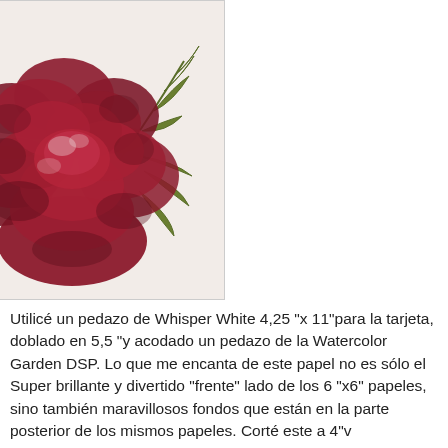[Figure (illustration): A detailed drawing/illustration of a large dark red rose with green leaf stems on a light beige/cream background.]
Utilicé un pedazo de Whisper White  4,25 "x 11"para la tarjeta, doblado en 5,5 "y acodado un pedazo de la Watercolor Garden DSP.  Lo que me encanta de este papel no es sólo el Super brillante y divertido "frente" lado de los 6 "x6" papeles, sino también maravillosos fondos que están en la parte posterior de los mismos papeles. Corté este a 4"v